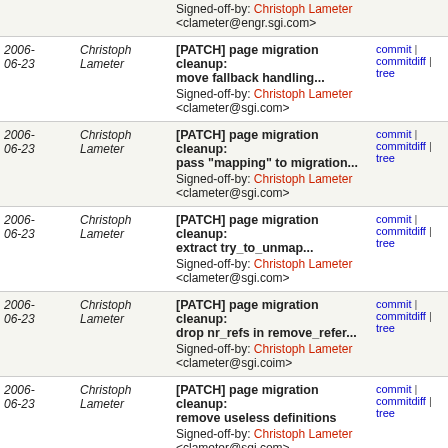| Date | Author | Commit Message | Links |
| --- | --- | --- | --- |
| 2006-06-23 | Christoph Lameter | [PATCH] page migration cleanup: move fallback handling...
Signed-off-by: Christoph Lameter <clameter@sgi.com> | commit | commitdiff | tree |
| 2006-06-23 | Christoph Lameter | [PATCH] page migration cleanup: pass "mapping" to migration...
Signed-off-by: Christoph Lameter <clameter@sgi.com> | commit | commitdiff | tree |
| 2006-06-23 | Christoph Lameter | [PATCH] page migration cleanup: extract try_to_unmap...
Signed-off-by: Christoph Lameter <clameter@sgi.com> | commit | commitdiff | tree |
| 2006-06-23 | Christoph Lameter | [PATCH] page migration cleanup: drop nr_refs in remove_refer...
Signed-off-by: Christoph Lameter <clameter@sgi.coim> | commit | commitdiff | tree |
| 2006-06-23 | Christoph Lameter | [PATCH] page migration cleanup: remove useless definitions
Signed-off-by: Christoph Lameter <clameter@sgi.com> | commit | commitdiff | tree |
| 2006-06-23 | Christoph Lameter | [PATCH] page migration cleanup: group functions
Signed-off-by: Christoph Lameter <clameter@sgi.com> | commit | commitdiff | tree |
| 2006-06-23 | Christoph Lameter | [PATCH] page migration cleanup: rename "ignrefs" to...
Signed-off-by: Christoph Lameter | commit | commitdiff | tree |